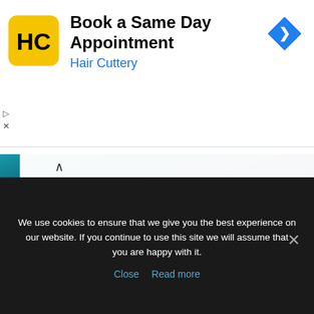[Figure (screenshot): Hair Cuttery advertisement banner with yellow HC logo, title 'Book a Same Day Appointment', subtitle 'Hair Cuttery' in blue, and a blue diamond navigation arrow icon on the right]
XRay 1.18.2
Minecraft Forge 1.18.2
Just Enough Items 1.18.2
Simple Planes 1.18.2
Simple Magnets 1.18.2
Waddles 1.18.2
We use cookies to ensure that we give you the best experience on our website. If you continue to use this site we will assume that you are happy with it.
Close  Read more